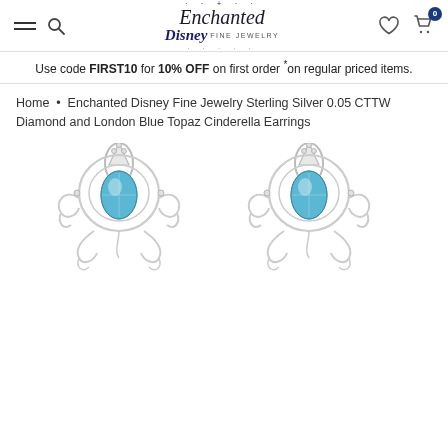Enchanted Disney Fine Jewelry — navigation header with hamburger menu, search, logo, heart, and cart (0) icons
Use code FIRST10 for 10% OFF on first order *on regular priced items.
Home • Enchanted Disney Fine Jewelry Sterling Silver 0.05 CTTW Diamond and London Blue Topaz Cinderella Earrings
[Figure (photo): Two silver Cinderella carriage stud earrings with London Blue Topaz center stones and diamond accents, displayed on white background]